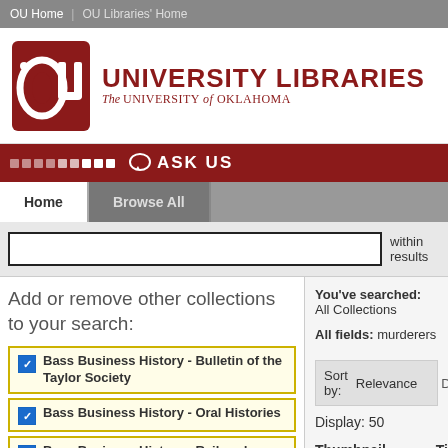OU Home | OU Libraries' Home
[Figure (logo): University of Oklahoma OU logo with UNIVERSITY LIBRARIES and The University of Oklahoma text]
ASK US
Home | Browse All
within results
Add or remove other collections to your search:
Bass Business History - Bulletin of the Taylor Society
Bass Business History - Oral Histories
Bass Business History - Railroads Collection EADs
Bass Business History - Robert Kahn's Retailing Today
Bass Business History - Western
You've searched: All Collections
All fields: murderers
Sort by: Relevance
Display: 50
Thumbnail    Title